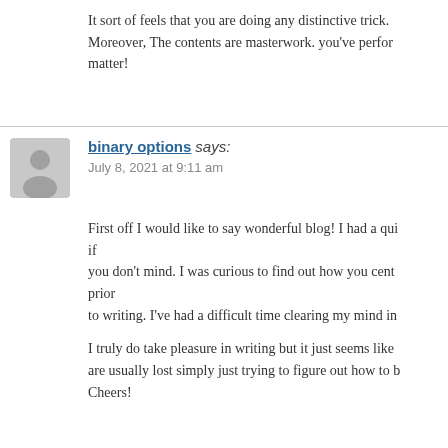It sort of feels that you are doing any distinctive trick. Moreover, The contents are masterwork. you've performed a fantastic matter!
binary options says:
July 8, 2021 at 9:11 am

First off I would like to say wonderful blog! I had a quick question if you don't mind. I was curious to find out how you center yourself prior to writing. I've had a difficult time clearing my mind in

I truly do take pleasure in writing but it just seems like the first 10 to 15 minutes are usually lost simply just trying to figure out how to begin. Cheers!